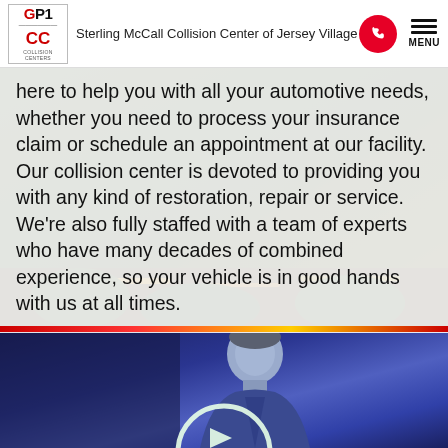Sterling McCall Collision Center of Jersey Village
here to help you with all your automotive needs, whether you need to process your insurance claim or schedule an appointment at our facility. Our collision center is devoted to providing you with any kind of restoration, repair or service. We're also fully staffed with a team of experts who have many decades of combined experience, so your vehicle is in good hands with us at all times.
[Figure (photo): Dark background video thumbnail showing a man in a suit against a blue-purple background with a play button icon at the bottom center]